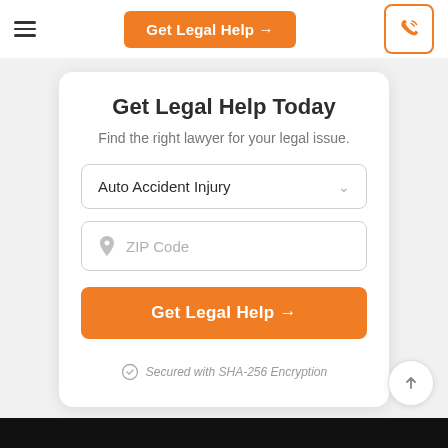Get Legal Help →
Get Legal Help Today
Find the right lawyer for your legal issue.
Auto Accident Injury
ZIP Code
Get Legal Help →
Secured with SHA-256 Encryption